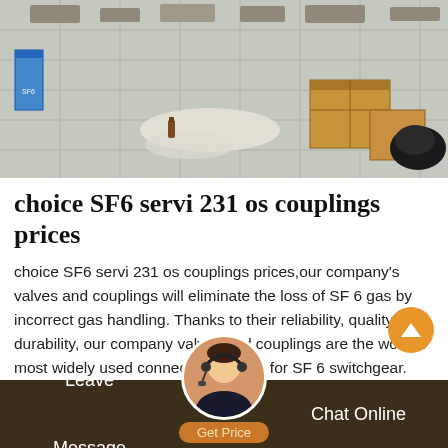[Figure (photo): Overhead/aerial view of a warehouse or construction site floor with scattered boxes, debris, packaging materials, and equipment. Cardboard boxes visible on the right, blue container on the left, white materials strewn across the floor.]
choice SF6 servi 231 os couplings prices
choice SF6 servi 231 os couplings prices,our company's valves and couplings will eliminate the loss of SF 6 gas by incorrect gas handling. Thanks to their reliability, quality, and durability, our company valves and couplings are the world's most widely used connecting system for SF 6 switchgear. Advantages of application. Self-closing coupling system. Pressure and vacuum-tight even when coupling